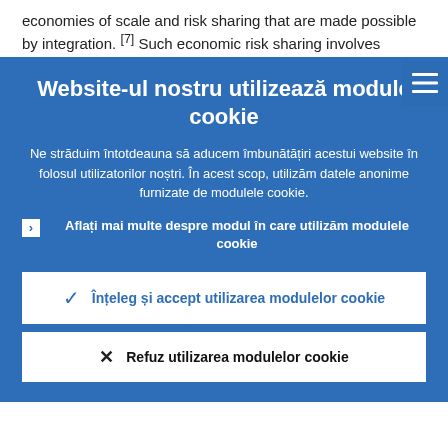economies of scale and risk sharing that are made possible by integration. [7] Such economic risk sharing involves chiefly th…
Website-ul nostru utilizează module cookie
Ne străduim întotdeauna să aducem îmbunătățiri acestui website în folosul utilizatorilor noștri. În acest scop, utilizăm datele anonime furnizate de modulele cookie.
Aflați mai multe despre modul în care utilizăm modulele cookie
Înțeleg și accept utilizarea modulelor cookie
Refuz utilizarea modulelor cookie